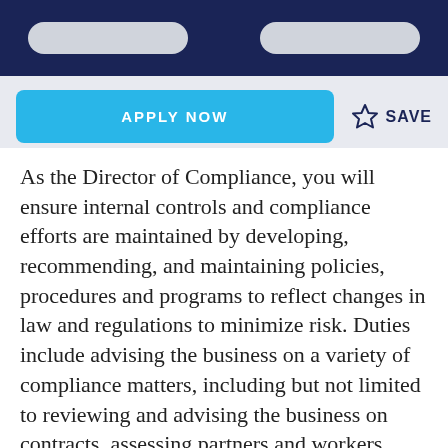APPLY NOW
SAVE
As the Director of Compliance, you will ensure internal controls and compliance efforts are maintained by developing, recommending, and maintaining policies, procedures and programs to reflect changes in law and regulations to minimize risk. Duties include advising the business on a variety of compliance matters, including but not limited to reviewing and advising the business on contracts, assessing partners and workers from a legal and compliance perspective, and responding to potential legal and